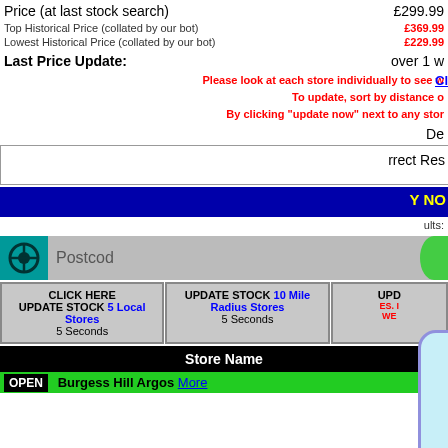| Description | Amount |
| --- | --- |
| Price (at last stock search) | £299.99 |
| Top Historical Price (collated by our bot) | £369.99 |
| Lowest Historical Price (collated by our bot) | £229.99 |
| Last Price Update: | over 1 w... |
Please look at each store individually to see w... To update, sort by distance o... By clicking "update now" next to any stor...
De...
...rrect Res...
...Y NO...
...ults:...
[Figure (screenshot): Popup modal with light blue background and purple border showing NEW!! NEW!! Click on RESERVE NOW and you will automatically have the corresponding Argos store chosen for you on the Argos website! This will auto close in 3 seconds]
Postco...
CLICK HERE UPDATE STOCK 5 Local Stores 5 Seconds
UPDATE STOCK 10 Mile Radius Stores 5 Seconds
UPD...
ES. I... WE...
| Store Name |
| --- |
OPEN   Burgess Hill Argos More